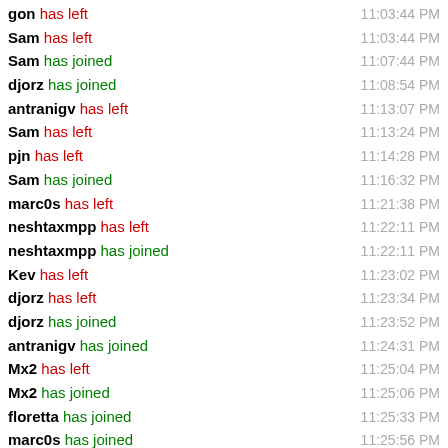gon has left 11:03:44 PM
Sam has left 11:03:44 PM
Sam has joined 11:07:44 PM
djorz has joined 11:08:54 PM
antranigv has left 11:13:07 PM
Sam has left 11:13:24 PM
pjn has left 11:14:28 PM
Sam has joined 11:16:32 PM
marc0s has left 11:21:38 PM
neshtaxmpp has left 11:22:11 PM
neshtaxmpp has joined 11:22:11 PM
Kev has left 11:23:02 PM
djorz has left 11:23:34 PM
djorz has joined 11:23:52 PM
antranigv has joined 11:24:31 PM
Mx2 has left 11:25:04 PM
Mx2 has joined 11:25:06 PM
floretta has joined 11:25:33 PM
marc0s has joined 11:25:56 PM
djorz has left 11:28:30 PM
Mx2 has left 11:28:51 PM
Mx2 has joined 11:28:53 PM
djorz has joined 11:29:54 PM
lskdjf has left 11:32:54 PM
adiaholic has joined 11:33:04 PM
djorz has left 11:35:X PM